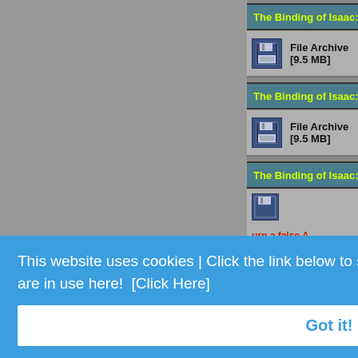The Binding of Isaac: Rebirth - Repentance v4.0.4 [EN...
File Archive [9.5 MB]
The Binding of Isaac: Rebirth - Repentance v4.0.2 [EN...
File Archive [9.5 MB]
The Binding of Isaac: Rebirth - Repentance v2020331 +...
urn a false A
v2020331 [...
0510 +4 TR
x - Can retur
This website uses cookies | Click the link below to see what cookies are and what kind of cookies are in use here!  [Click Here]
Got it!